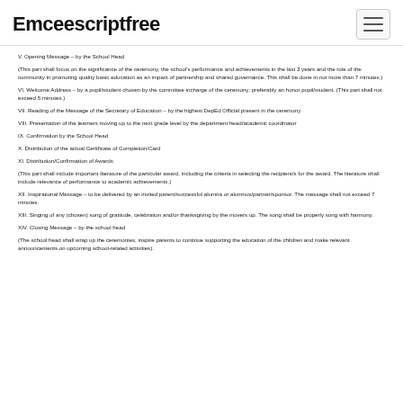Emceescriptfree
V. Opening Message – by the School Head
(This part shall focus on the significance of the ceremony, the school's performance and achievements in the last 3 years and the role of the community in promoting quality basic education as an impact of partnership and shared governance. This shall be done in not more than 7 minutes.)
VI. Welcome Address – by a pupil/student chosen by the committee incharge of the ceremony; preferably an honor pupil/student. (This part shall not exceed 5 minutes.)
VII. Reading of the Message of the Secretary of Education – by the highest DepEd Official present in the ceremony
VIII. Presentation of the learners moving up to the next grade level by the department head/academic coordinator
IX. Confirmation by the School Head
X. Distribution of the actual Certificate of Completion/Card
XI. Distribution/Confirmation of Awards
(This part shall include important literature of the particular award, including the criteria in selecting the recipient/s for the award. The literature shall include relevance of performance to academic achievements.)
XII. Inspirational Message – to be delivered by an invited parent/successful alumna or alumnus/partner/sponsor. The message shall not exceed 7 minutes.
XIII. Singing of any (chosen) song of gratitude, celebration and/or thanksgiving by the movers up. The song shall be properly sung with harmony.
XIV. Closing Message – by the school head
(The school head shall wrap up the ceremonies, inspire parents to continue supporting the education of the children and make relevant announcements on upcoming school-related activities).